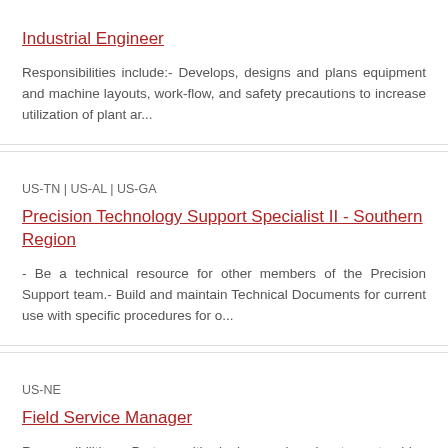Industrial Engineer
Responsibilities include:- Develops, designs and plans equipment and machine layouts, work-flow, and safety precautions to increase utilization of plant ar...
US-TN | US-AL | US-GA
Precision Technology Support Specialist II - Southern Region
- Be a technical resource for other members of the Precision Support team.- Build and maintain Technical Documents for current use with specific procedures for o...
US-NE
Field Service Manager
Responsibilities:- Partner with dealers and region team to drive best practice behaviors related to Service capability- Engage dealer principal, service management and all leve...